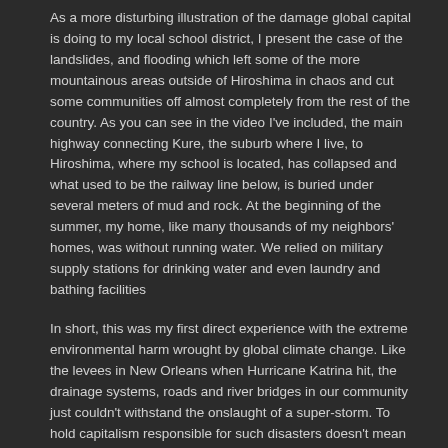As a more disturbing illustration of the damage global capital is doing to my local school district, I present the case of the landslides, and flooding which left some of the more mountainous areas outside of Hiroshima in chaos and cut some communities off almost completely from the rest of the country. As you can see in the video I've included, the main highway connecting Kure, the suburb where I live, to Hiroshima, where my school is located, has collapsed and what used to be the railway line below, is buried under several meters of mud and rock. At the beginning of the summer, my home, like many thousands of my neighbors' homes, was without running water. We relied on military supply stations for drinking water and even laundry and bathing facilities
In short, this was my first direct experience with the extreme environmental harm wrought by global climate change. Like the levees in New Orleans when Hurricane Katrina hit, the drainage systems, roads and river bridges in our community just couldn't withstand the onslaught of a super-storm. To hold capitalism responsible for such disasters doesn't mean that I believe Sony or Mazda or